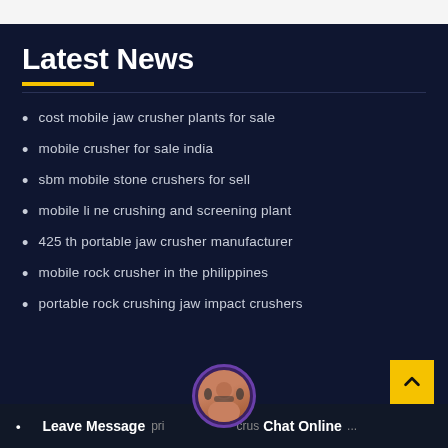Latest News
cost mobile jaw crusher plants for sale
mobile crusher for sale india
sbm mobile stone crushers for sell
mobile li ne crushing and screening plant
425 th portable jaw crusher manufacturer
mobile rock crusher in the philippines
portable rock crushing jaw impact crushers
Leave Message pri crus Chat Online ...